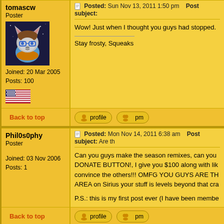tomascw
Poster
[Figure (illustration): Avatar of a cartoon fox/cat character with blue glasses and brown hair against a starry background]
Joined: 20 Mar 2005
Posts: 100
[Figure (illustration): US flag icon]
Posted: Sun Nov 13, 2011 1:50 pm    Post subject:
Wow! Just when I thought you guys had stopped.

Stay frosty, Squeaks
Back to top
Phil0s0phy
Poster

Joined: 03 Nov 2006
Posts: 1
Posted: Mon Nov 14, 2011 6:38 am    Post subject: Are th
Can you guys make the season remixes, can you DONATE BUTTON!, I give you $100 along with lik convince the others!!! OMFG YOU GUYS ARE TH AREA on Sirius your stuff is levels beyond that cra

P.S.: this is my first post ever (I have been membe
Back to top
BlakeBateman
Poster
Posted: Tue Nov 15, 2011 1:15 pm    Post subject:
great to see you guys back!